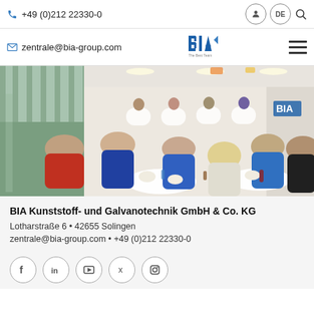+49 (0)212 22330-0
zentrale@bia-group.com
[Figure (logo): BIA logo with blue letters and tagline]
[Figure (photo): Company cafeteria with many employees eating at white tables, large windows on the left showing outdoor area]
BIA Kunststoff- und Galvanotechnik GmbH & Co. KG
Lotharstraße 6 • 42655 Solingen
zentrale@bia-group.com • +49 (0)212 22330-0